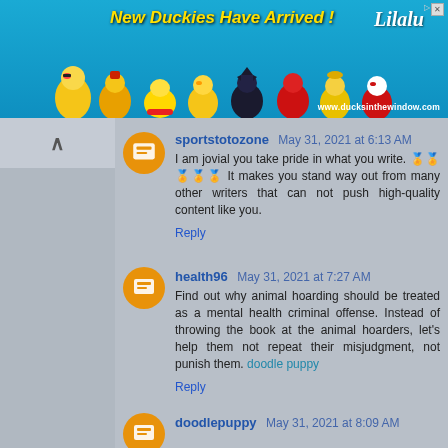[Figure (screenshot): Advertisement banner for ducksinthewindow.com showing rubber ducks and Lilalu brand logo with text 'New Duckies Have Arrived!']
sportstotozone May 31, 2021 at 6:13 AM
I am jovial you take pride in what you write. 🏅🏅🏅🏅🏅 It makes you stand way out from many other writers that can not push high-quality content like you.
Reply
health96 May 31, 2021 at 7:27 AM
Find out why animal hoarding should be treated as a mental health criminal offense. Instead of throwing the book at the animal hoarders, let's help them not repeat their misjudgment, not punish them. doodle puppy
Reply
doodlepuppy May 31, 2021 at 8:09 AM